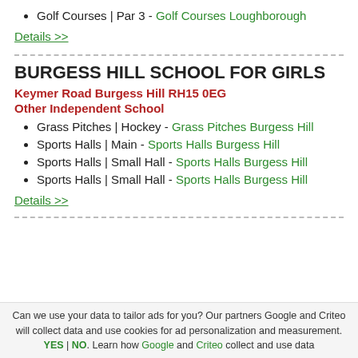Golf Courses | Par 3 - Golf Courses Loughborough
Details >>
BURGESS HILL SCHOOL FOR GIRLS
Keymer Road Burgess Hill RH15 0EG
Other Independent School
Grass Pitches | Hockey - Grass Pitches Burgess Hill
Sports Halls | Main - Sports Halls Burgess Hill
Sports Halls | Small Hall - Sports Halls Burgess Hill
Sports Halls | Small Hall - Sports Halls Burgess Hill
Details >>
Can we use your data to tailor ads for you? Our partners Google and Criteo will collect data and use cookies for ad personalization and measurement. YES | NO. Learn how Google and Criteo collect and use data